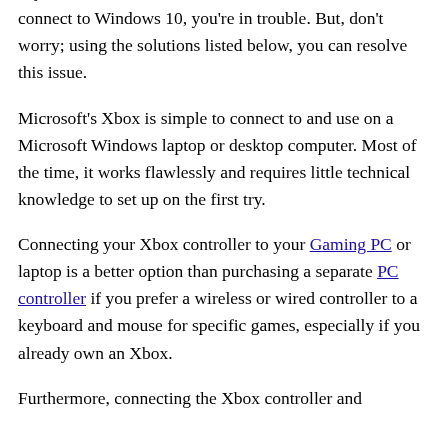If your Wireless Xbox One controller needs a PIN to connect to Windows 10, you're in trouble. But, don't worry; using the solutions listed below, you can resolve this issue.
Microsoft's Xbox is simple to connect to and use on a Microsoft Windows laptop or desktop computer. Most of the time, it works flawlessly and requires little technical knowledge to set up on the first try.
Connecting your Xbox controller to your Gaming PC or laptop is a better option than purchasing a separate PC controller if you prefer a wireless or wired controller to a keyboard and mouse for specific games, especially if you already own an Xbox.
Furthermore, connecting the Xbox controller and